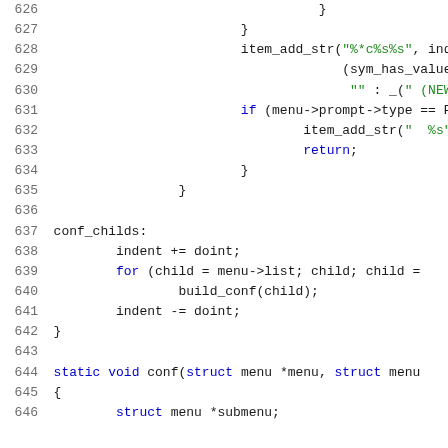[Figure (other): Source code listing lines 626-646, C programming language, showing code for building a configuration with nested loops, string additions, and function declarations.]